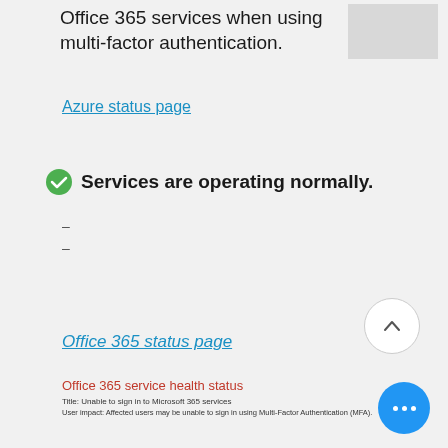Office 365 services when using multi-factor authentication.
Azure status page
Services are operating normally.
–
–
Office 365 status page
Office 365 service health status
Title: Unable to sign in to Microsoft 365 services
User impact: Affected users may be unable to sign in using Multi-Factor Authentication (MFA).